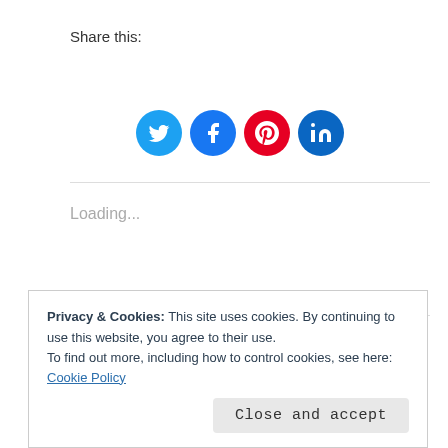Share this:
[Figure (illustration): Four social media share buttons: Twitter (blue bird), Facebook (blue f), Pinterest (red P), LinkedIn (blue in)]
Loading...
Rosepoint Publishing / September 6, 2020 / 2020 Reviews / #bestsellingauthor, #blogger, #bookblog,
Privacy & Cookies: This site uses cookies. By continuing to use this website, you agree to their use.
To find out more, including how to control cookies, see here: Cookie Policy